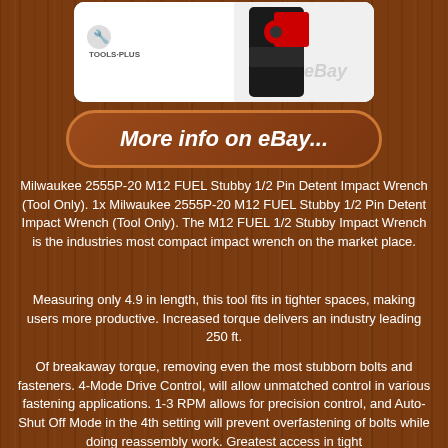[Figure (photo): Product image of Milwaukee M12 FUEL Stubby Impact Wrench (tool shown in black and red) with Tools-Plus logo and eBay watermark on white background]
More info on eBay...
Milwaukee 2555P-20 M12 FUEL Stubby 1/2 Pin Detent Impact Wrench (Tool Only). 1x Milwaukee 2555P-20 M12 FUEL Stubby 1/2 Pin Detent Impact Wrench (Tool Only). The M12 FUEL 1/2 Stubby Impact Wrench is the industries most compact impact wrench on the market place.
Measuring only 4.9 in length, this tool fits in tighter spaces, making users more productive. Increased torque delivers an industry leading 250 ft.
Of breakaway torque, removing even the most stubborn bolts and fasteners. 4-Mode Drive Control, will allow unmatched control in various fastening applications. 1-3 RPM allows for precision control, and Auto-Shut Off Mode in the 4th setting will prevent overfastening of bolts while doing reassembly work. Greatest access in tight